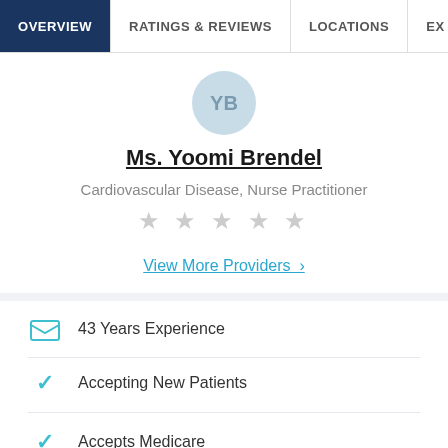OVERVIEW | RATINGS & REVIEWS | LOCATIONS | EX
[Figure (illustration): Circular avatar with initials YB in light blue-gray]
Ms. Yoomi Brendel
Cardiovascular Disease, Nurse Practitioner
[Figure (other): Five empty/gray star rating icons]
View More Providers >
43 Years Experience
Accepting New Patients
Accepts Medicare
Accepts Medicaid
Languages Spoken